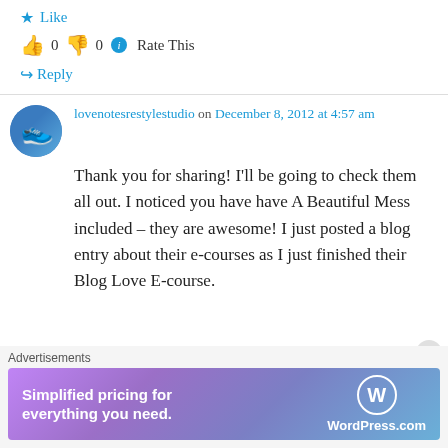★ Like
👍 0 👎 0 ℹ Rate This
↪ Reply
lovenotesrestylestudio on December 8, 2012 at 4:57 am
Thank you for sharing! I'll be going to check them all out. I noticed you have have A Beautiful Mess included – they are awesome! I just posted a blog entry about their e-courses as I just finished their Blog Love E-course.
Advertisements
[Figure (screenshot): WordPress.com advertisement banner: 'Simplified pricing for everything you need.' with WordPress.com logo]